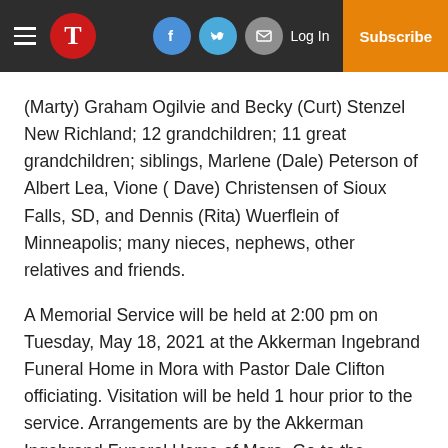T | [facebook] [twitter] [email] Log In | Subscribe
(Marty) Graham Ogilvie and Becky (Curt) Stenzel New Richland; 12 grandchildren; 11 great grandchildren; siblings, Marlene (Dale) Peterson of Albert Lea, Vione ( Dave) Christensen of Sioux Falls, SD, and Dennis (Rita) Wuerflein of Minneapolis; many nieces, nephews, other relatives and friends.
A Memorial Service will be held at 2:00 pm on Tuesday, May 18, 2021 at the Akkerman Ingebrand Funeral Home in Mora with Pastor Dale Clifton officiating. Visitation will be held 1 hour prior to the service. Arrangements are by the Akkerman Ingebrand Funeral Home of Mora. Go to the